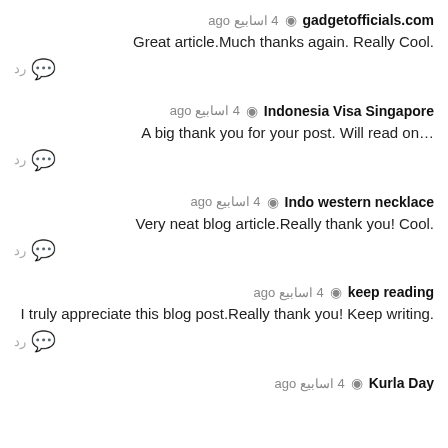gadgetofficials.com · 4 اسابیع ago
Great article.Much thanks again. Really Cool.
Indonesia Visa Singapore · 4 اسابیع ago
A big thank you for your post. Will read on…
Indo western necklace · 4 اسابیع ago
Very neat blog article.Really thank you! Cool.
keep reading · 4 اسابیع ago
I truly appreciate this blog post.Really thank you! Keep writing.
Kurla Day · 4 اسابیع ago